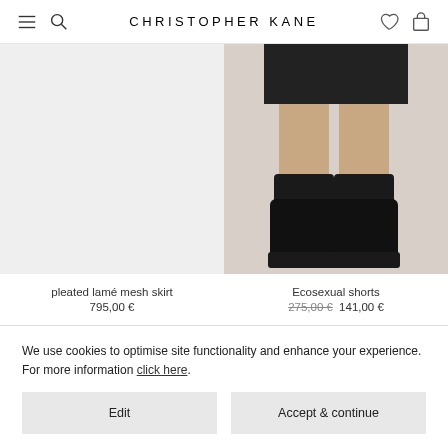CHRISTOPHER KANE
[Figure (photo): Left product: pleated lamé mesh skirt – light grey background, no visible product]
[Figure (photo): Right product: Ecosexual shorts – model's legs wearing black shorts and black ankle boots on grey background]
pleated lamé mesh skirt
795,00 €
Ecosexual shorts
275,00 € 141,00 €
We use cookies to optimise site functionality and enhance your experience. For more information click here.
Edit
Accept & continue